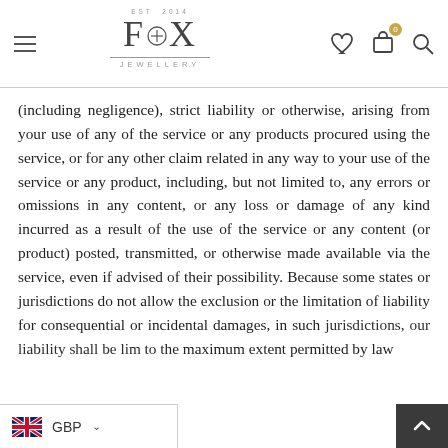FOX JEWELLERY — EST 2014
(including negligence), strict liability or otherwise, arising from your use of any of the service or any products procured using the service, or for any other claim related in any way to your use of the service or any product, including, but not limited to, any errors or omissions in any content, or any loss or damage of any kind incurred as a result of the use of the service or any content (or product) posted, transmitted, or otherwise made available via the service, even if advised of their possibility. Because some states or jurisdictions do not allow the exclusion or the limitation of liability for consequential or incidental damages, in such jurisdictions, our liability shall be limited to the maximum extent permitted by law.